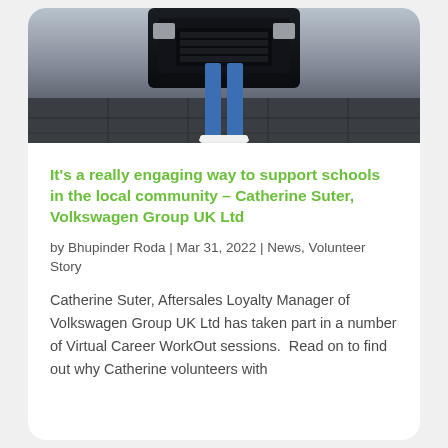[Figure (photo): Partial photo of a person standing in front of a car, lower body visible, wearing blue jeans and white sneakers, dark vehicle interior background]
It's a really engaging way to support schools in the local community – Catherine Suter, Volkswagen Group UK Ltd
by Bhupinder Roda | Mar 31, 2022 | News, Volunteer Story
Catherine Suter, Aftersales Loyalty Manager of Volkswagen Group UK Ltd has taken part in a number of Virtual Career WorkOut sessions.  Read on to find out why Catherine volunteers with